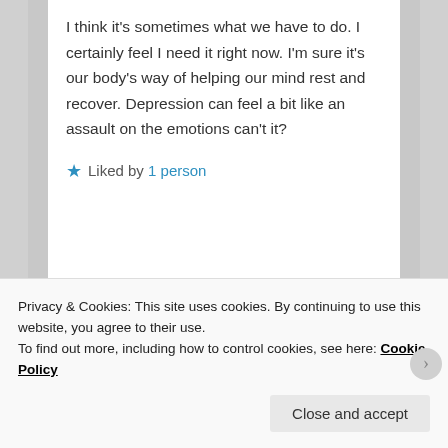I think it's sometimes what we have to do. I certainly feel I need it right now. I'm sure it's our body's way of helping our mind rest and recover. Depression can feel a bit like an assault on the emotions can't it?
★ Liked by 1 person
limetwiste on May 3, 2020 at 2:33 pm
Privacy & Cookies: This site uses cookies. By continuing to use this website, you agree to their use.
To find out more, including how to control cookies, see here: Cookie Policy